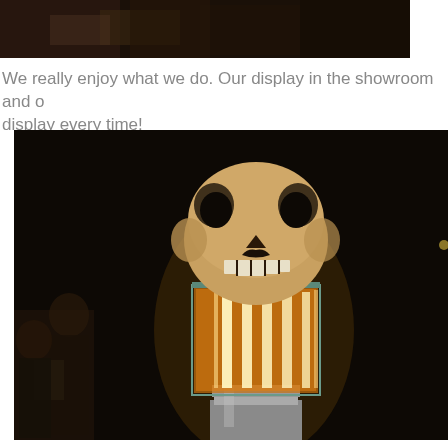[Figure (photo): Dark interior showroom photo, partially visible at top of page, showing a dimly lit display environment]
We really enjoy what we do.  Our display in the showroom and o display every time!
[Figure (photo): A skull lamp display featuring a human skull atop a glass and metal rectangular lantern with glowing Edison-style bulbs inside, set against a dark background in a showroom]